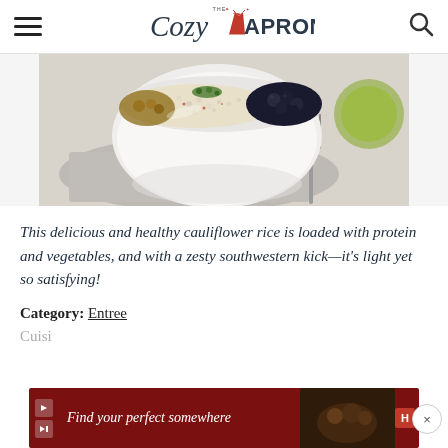The Cozy Apron
[Figure (photo): A white bowl filled with cauliflower rice, black beans, and other vegetables, placed on a gray linen napkin with a fork beside it.]
This delicious and healthy cauliflower rice is loaded with protein and vegetables, and with a zesty southwestern kick—it's light yet so satisfying!
Category: Entree
Cuisi
[Figure (screenshot): Advertisement banner: 'Find your perfect somewhere' with a food/travel image on a dark red background.]